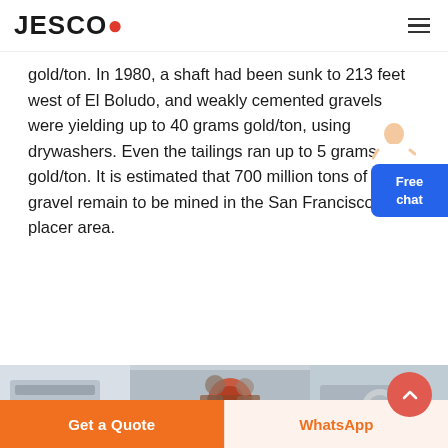JESCO
gold/ton. In 1980, a shaft had been sunk to 213 feet west of El Boludo, and weakly cemented gravels were yielding up to 40 grams gold/ton, using drywashers. Even the tailings ran up to 5 grams gold/ton. It is estimated that 700 million tons of gold gravel remain to be mined in the San Francisco placer area.
READ MORE →
[Figure (photo): Industrial machinery/equipment photo at bottom of page]
Get a Quote
WhatsApp